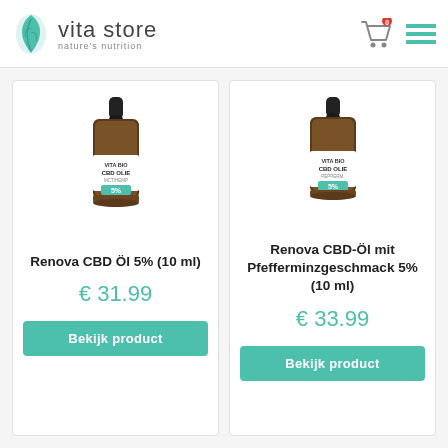vita store — nature's nutrition
[Figure (photo): CBD oil bottle (Renova CBD Öl 5%, 10 ml) — small amber dropper bottle with green label]
Renova CBD Öl 5% (10 ml)
€ 31.99
Bekijk product
[Figure (photo): CBD oil bottle (Renova CBD-Öl mit Pfefferminzgeschmack 5%, 10 ml) — small amber dropper bottle with green label]
Renova CBD-Öl mit Pfefferminzgeschmack 5% (10 ml)
€ 33.99
Bekijk product